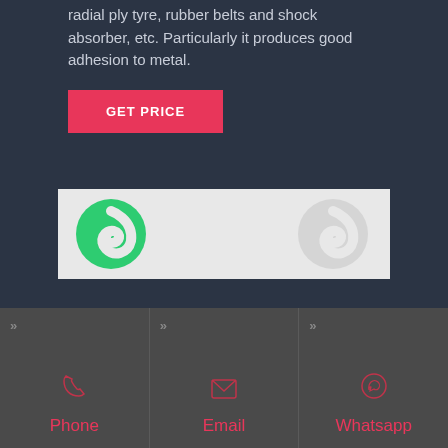radial ply tyre, rubber belts and shock absorber, etc. Particularly it produces good adhesion to metal.
GET PRICE
[Figure (logo): Green swirl logo on light gray background]
Phone
Email
Whatsapp